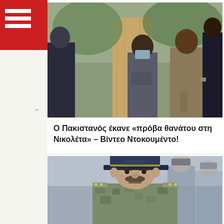[Figure (photo): News article photo showing people outdoors near a tree, one person wearing a blue face mask and a grey shirt, others in dark clothing]
Ο Πακιστανός έκανε «πρόβα θανάτου στη Νικολέτα» – Βίντεο Ντοκουμέντο!
[Figure (photo): News article photo showing a military officer wearing a dark navy blue cap and military uniform, with other soldiers/personnel in the blurred background]